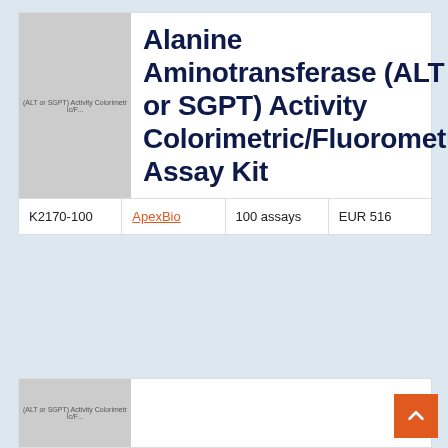[Figure (photo): Product thumbnail image placeholder (gray rectangle) for Alanine Aminotransferase (ALT or SGPT) Activity Colorimetric/Fluorometric Assay Kit with small text overlay]
Alanine Aminotransferase (ALT or SGPT) Activity Colorimetric/Fluorometric Assay Kit
| Catalog | Supplier | Size | Price |
| --- | --- | --- | --- |
| K2170-100 | ApexBio | 100 assays | EUR 516 |
[Figure (photo): Second product thumbnail image placeholder (gray rectangle, partially visible at bottom of page)]